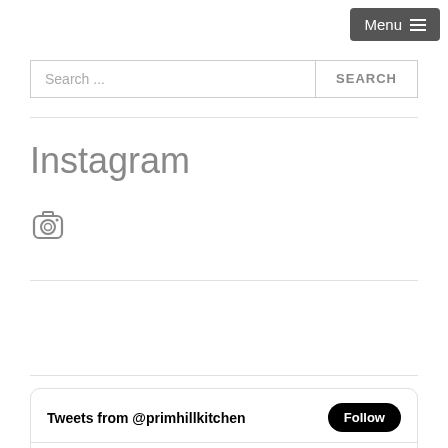Menu ≡
Search ...
SEARCH
Instagram
[Figure (illustration): Instagram camera icon]
Tweets from @primhillkitchen Follow